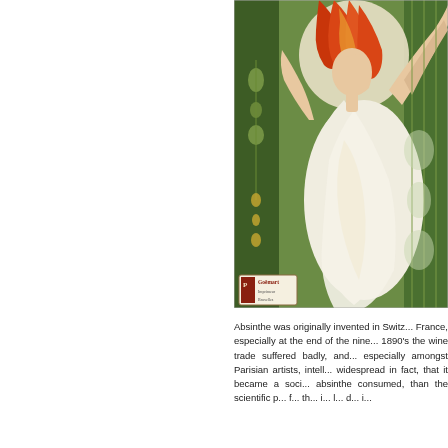[Figure (illustration): Art Nouveau style illustration of a woman with flowing red/orange hair and white draped clothing, arms raised, against a green decorative background. Small printer's mark or logo visible at bottom left of the image reading 'Goëmart'.]
Absinthe was originally invented in Switz... France, especially at the end of the nine... 1890's the wine trade suffered badly, and... especially amongst Parisian artists, intell... widespread in fact, that it became a soci... absinthe consumed, than the scientific p... f... th... i... l... d... i...